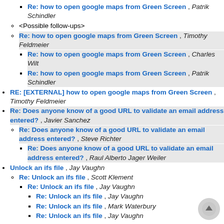Re: how to open google maps from Green Screen , Patrik Schindler
<Possible follow-ups>
Re: how to open google maps from Green Screen , Timothy Feldmeier
Re: how to open google maps from Green Screen , Charles Wilt
Re: how to open google maps from Green Screen , Patrik Schindler
RE: [EXTERNAL] how to open google maps from Green Screen , Timothy Feldmeier
Re: Does anyone know of a good URL to validate an email address entered? , Javier Sanchez
Re: Does anyone know of a good URL to validate an email address entered? , Steve Richter
Re: Does anyone know of a good URL to validate an email address entered? , Raul Alberto Jager Weiler
Unlock an ifs file , Jay Vaughn
Re: Unlock an ifs file , Scott Klement
Re: Unlock an ifs file , Jay Vaughn
Re: Unlock an ifs file , Jay Vaughn
Re: Unlock an ifs file , Mark Waterbury
Re: Unlock an ifs file , Jay Vaughn